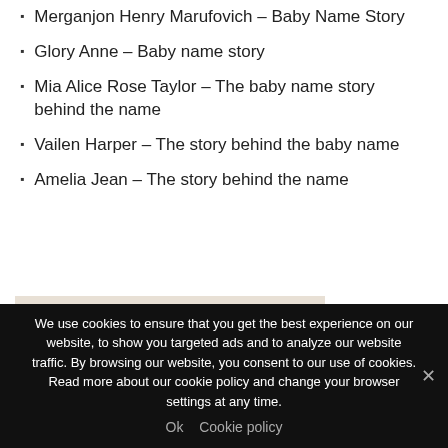Merganjon Henry Marufovich – Baby Name Story
Glory Anne – Baby name story
Mia Alice Rose Taylor – The baby name story behind the name
Vailen Harper – The story behind the baby name
Amelia Jean – The story behind the name
[Figure (photo): A sleeping newborn baby wearing a knitted bonnet hat, photographed on a light beige background]
We use cookies to ensure that you get the best experience on our website, to show you targeted ads and to analyze our website traffic. By browsing our website, you consent to our use of cookies. Read more about our cookie policy and change your browser settings at any time.
Ok   Cookie policy